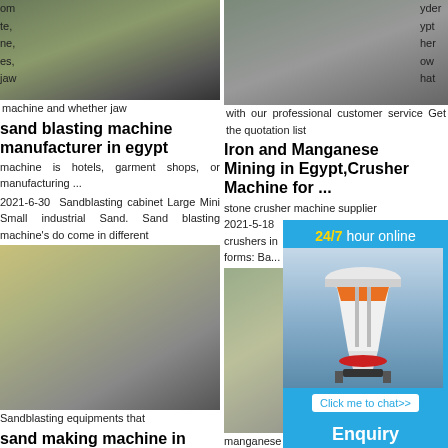[Figure (photo): Photo of sand blasting / mining equipment, top left]
om te, ne, es, jaw machine and whether jaw sand blasting machine manufacturer in egypt machine is hotels, garment shops, or manufacturing ...
sand blasting machine manufacturer in egypt
2021-6-30  Sandblasting cabinet Large Mini Small industrial Sand. Sand blasting machine's do come in different
[Figure (photo): Photo of sand making machine / portable crusher, bottom left]
ost a hat nd ny le Sandblasting equipments that sand making machine in egypt - ATAIRAC ENGINEERED one could ask nearly 1 decades of experience in this field the company has a premium range of... Welcome to ATAIRAC,a good mining and quarry supplier in China!We provide jaw
sand making machine in egypt - ATAIRAC ENGINEERED
[Figure (photo): Photo of iron and manganese mining crusher equipment, top right]
yder ypt her ow hat with our professional customer service Get the quotation list Iron and Manganese Mining in Egypt,Crusher Chat now Solutions Portable Machine for ... stone crusher machine supplier 2021-5-18 Egypt Iron Mining Portables crushers in forms: Ba...
Iron and Manganese Mining in Egypt,Crusher Machine for ...
2021-5-18  Egypt Iron Mining in forms: Ba... manganese jaw crusher from 0.7% - zsmec mining m... Machine Crusher P Price List Small unit
[Figure (photo): Chat widget with cone crusher machine image, 24/7 hour online, Click me to chat>>, Enquiry, limingjlmofen]